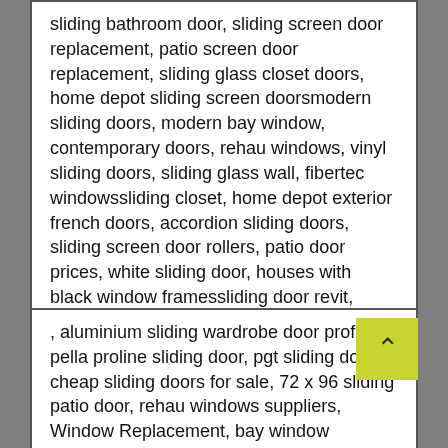sliding bathroom door, sliding screen door replacement, patio screen door replacement, sliding glass closet doors, home depot sliding screen doorsmodern sliding doors, modern bay window, contemporary doors, rehau windows, vinyl sliding doors, sliding glass wall, fibertec windowssliding closet, home depot exterior french doors, accordion sliding doors, sliding screen door rollers, patio door prices, white sliding door, houses with black window framessliding door revit, truporte, outside sliding doors, replacing older sliding glass door rollers, sliding glass, modern accordion doors,
, aluminium sliding wardrobe door profiles, pella proline sliding door, pgt sliding doors, cheap sliding doors for sale, 72 x 96 sliding patio door, rehau windows suppliers, Window Replacement, bay window manufacturers, white house dark windows, modern door panels, best modern windows, Window Replacement, Window Replacement, Window Replacement, Window